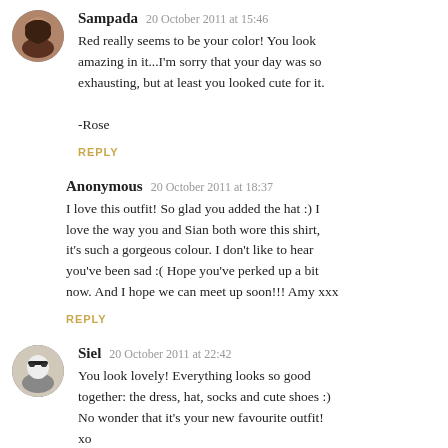Sampada  20 October 2011 at 15:46
Red really seems to be your color! You look amazing in it...I'm sorry that your day was so exhausting, but at least you looked cute for it.

-Rose
REPLY
Anonymous  20 October 2011 at 18:37
I love this outfit! So glad you added the hat :) I love the way you and Sian both wore this shirt, it's such a gorgeous colour. I don't like to hear you've been sad :( Hope you've perked up a bit now. And I hope we can meet up soon!!! Amy xxx
REPLY
Siel  20 October 2011 at 22:42
You look lovely! Everything looks so good together: the dress, hat, socks and cute shoes :) No wonder that it's your new favourite outfit! xo